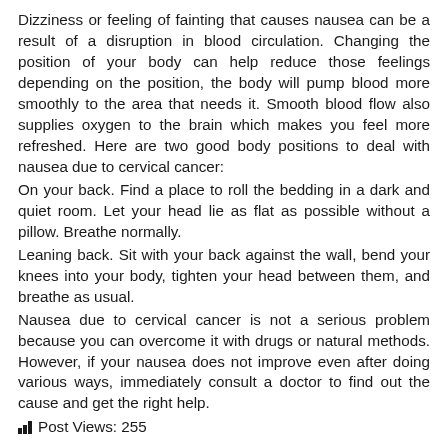Dizziness or feeling of fainting that causes nausea can be a result of a disruption in blood circulation. Changing the position of your body can help reduce those feelings depending on the position, the body will pump blood more smoothly to the area that needs it. Smooth blood flow also supplies oxygen to the brain which makes you feel more refreshed. Here are two good body positions to deal with nausea due to cervical cancer:
On your back. Find a place to roll the bedding in a dark and quiet room. Let your head lie as flat as possible without a pillow. Breathe normally.
Leaning back. Sit with your back against the wall, bend your knees into your body, tighten your head between them, and breathe as usual.
Nausea due to cervical cancer is not a serious problem because you can overcome it with drugs or natural methods. However, if your nausea does not improve even after doing various ways, immediately consult a doctor to find out the cause and get the right help.
Post Views: 255